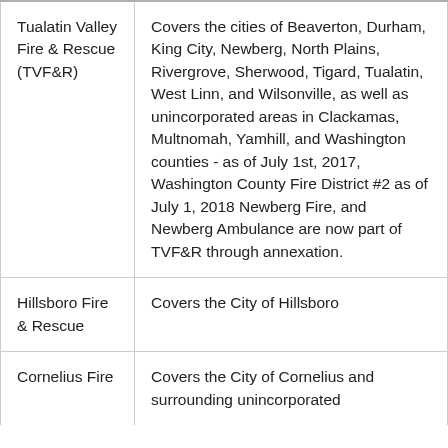| Tualatin Valley Fire & Rescue (TVF&R) | Covers the cities of Beaverton, Durham, King City, Newberg, North Plains, Rivergrove, Sherwood, Tigard, Tualatin, West Linn, and Wilsonville, as well as unincorporated areas in Clackamas, Multnomah, Yamhill, and Washington counties - as of July 1st, 2017, Washington County Fire District #2 as of July 1, 2018 Newberg Fire, and Newberg Ambulance are now part of TVF&R through annexation. |
| Hillsboro Fire & Rescue | Covers the City of Hillsboro |
| Cornelius Fire | Covers the City of Cornelius and surrounding unincorporated |